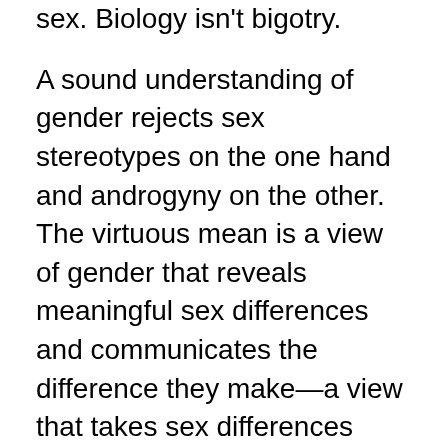sex. Biology isn't bigotry.
A sound understanding of gender rejects sex stereotypes on the one hand and androgyny on the other. The virtuous mean is a view of gender that reveals meaningful sex differences and communicates the difference they make—a view that takes sex differences seriously while upholding the fundamental equality of the sexes as complements to one another.
The most helpful therapies do not try to remake the body to conform with thoughts and feelings—which is impossible—but rather to help people find healthy ways to